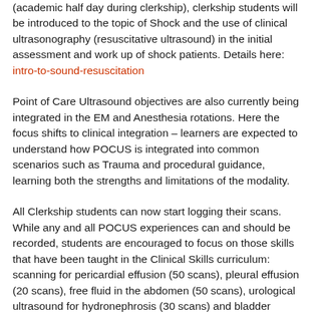(academic half day during clerkship), clerkship students will be introduced to the topic of Shock and the use of clinical ultrasonography (resuscitative ultrasound) in the initial assessment and work up of shock patients. Details here: intro-to-sound-resuscitation
Point of Care Ultrasound objectives are also currently being integrated in the EM and Anesthesia rotations. Here the focus shifts to clinical integration – learners are expected to understand how POCUS is integrated into common scenarios such as Trauma and procedural guidance, learning both the strengths and limitations of the modality.
All Clerkship students can now start logging their scans. While any and all POCUS experiences can and should be recorded, students are encouraged to focus on those skills that have been taught in the Clinical Skills curriculum: scanning for pericardial effusion (50 scans), pleural effusion (20 scans), free fluid in the abdomen (50 scans), urological ultrasound for hydronephrosis (30 scans) and bladder volume (10 scans). Non-supervised scans (which can make up to 50% of a students portfolio) should be recorded as well. The EchoLog